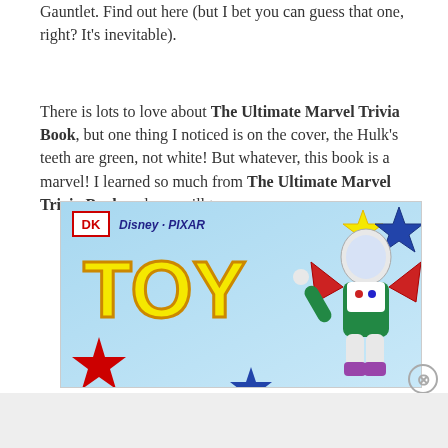Gauntlet. Find out here (but I bet you can guess that one, right? It's inevitable).
There is lots to love about The Ultimate Marvel Trivia Book, but one thing I noticed is on the cover, the Hulk's teeth are green, not white! But whatever, this book is a marvel! I learned so much from The Ultimate Marvel Trivia Book and you will too.
[Figure (illustration): Advertisement showing DK Disney Pixar Toy Story book cover with Buzz Lightyear character and colorful star decorations on a light blue background]
Advertisements